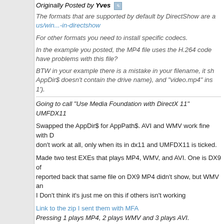Originally Posted by Yves
The formats that are supported by default by DirectShow are a us/win...-in-directshow
For other formats you need to install specific codecs.
In the example you posted, the MP4 file uses the H.264 code have problems with this file?
BTW in your example there is a mistake in your filename, it sh AppDir$ doesn't contain the drive name), and "video.mp4" ins 1').
Going to call "Use Media Foundation with DirectX 11" UMFDX11
Swapped the AppDir$ for AppPath$. AVI and WMV work fine with D don't work at all, only when its in dx11 and UMFDX11 is ticked.
Made two test EXEs that plays MP4, WMV, and AVI. One is DX9 of reported back that same file on DX9 MP4 didn't show, but WMV an I Don't think it's just me on this if others isn't working
Link to the zip I sent them with MFA
Pressing 1 plays MP4, 2 plays WMV and 3 plays AVI.
Yves